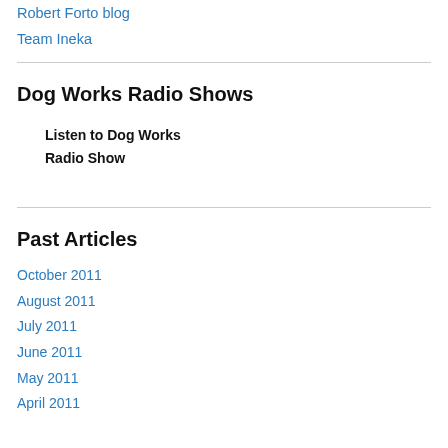Robert Forto blog
Team Ineka
Dog Works Radio Shows
Listen to Dog Works Radio Show
Past Articles
October 2011
August 2011
July 2011
June 2011
May 2011
April 2011